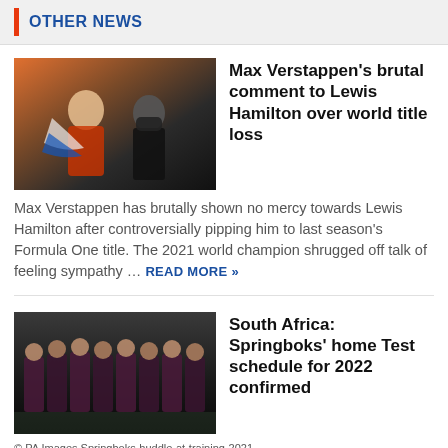OTHER NEWS
Max Verstappen's brutal comment to Lewis Hamilton over world title loss
[Figure (photo): Max Verstappen and Lewis Hamilton at a Formula One podium event, Verstappen wrapped in Dutch flag, Hamilton wearing black mask]
Max Verstappen has brutally shown no mercy towards Lewis Hamilton after controversially pipping him to last season's Formula One title. The 2021 world champion shrugged off talk of feeling sympathy … READ MORE »
South Africa: Springboks' home Test schedule for 2022 confirmed
[Figure (photo): Springboks rugby team huddling together at training session in 2021]
© PA Images Springboks-huddle-at-training-2021-